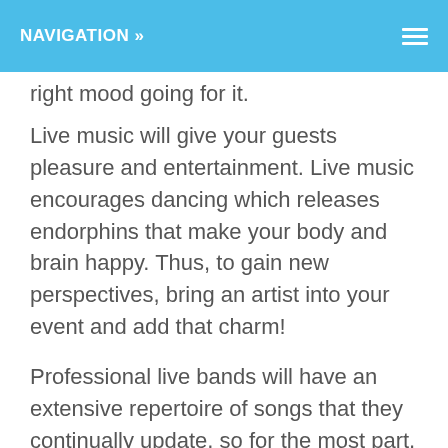NAVIGATION »
right mood going for it.
Live music will give your guests pleasure and entertainment. Live music encourages dancing which releases endorphins that make your body and brain happy. Thus, to gain new perspectives, bring an artist into your event and add that charm!
Professional live bands will have an extensive repertoire of songs that they continually update, so for the most part, they will have all the current favorites! Another huge aspect to think about is entertainment value because you are paying the live band not only to play music but for their talent which is an encouragement.